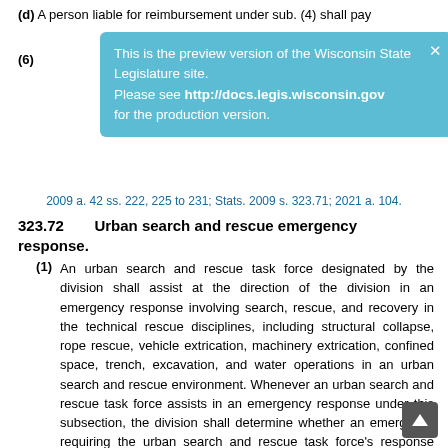(d) A person liable for reimbursement under sub. (4) shall pay
This is the preview version of the Wisconsin State Legislature site. Please see http://docs.legis.wisconsin.gov for the production version.
2009 a. 42 ss. 222, 225 to 231; Stats. 2009 s. 323.71; 2021 a. 104.
323.72   Urban search and rescue emergency response.
(1) An urban search and rescue task force designated by the division shall assist at the direction of the division in an emergency response involving search, rescue, and recovery in the technical rescue disciplines, including structural collapse, rope rescue, vehicle extrication, machinery extrication, confined space, trench, excavation, and water operations in an urban search and rescue environment. Whenever an urban search and rescue task force assists in an emergency response under this subsection, the division shall determine whether an emergency requiring the urban search and rescue task force's response existed. If the division determines that such an emergency existed, it shall make a good faith effort to identify the person who is required to reimburse the division under sub. (3). The division shall contract with local agencies, as defined in s. 323.70 (1) (b), to establish an urban search and rescue task force. A member of an urban search and rescue task force shall meet the most current training, competency